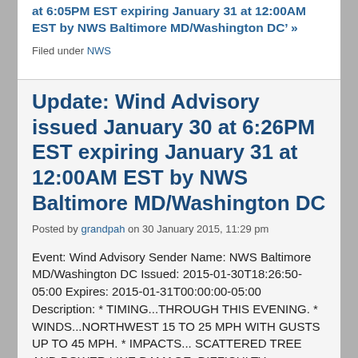at 6:05PM EST expiring January 31 at 12:00AM EST by NWS Baltimore MD/Washington DC' »
Filed under NWS
Update: Wind Advisory issued January 30 at 6:26PM EST expiring January 31 at 12:00AM EST by NWS Baltimore MD/Washington DC
Posted by grandpah on 30 January 2015, 11:29 pm
Event: Wind Advisory Sender Name: NWS Baltimore MD/Washington DC Issued: 2015-01-30T18:26:50-05:00 Expires: 2015-01-31T00:00:00-05:00 Description: * TIMING...THROUGH THIS EVENING. * WINDS...NORTHWEST 15 TO 25 MPH WITH GUSTS UP TO 45 MPH. * IMPACTS... SCATTERED TREE AND POWER LINE DAMAGE. DIFFCULTY